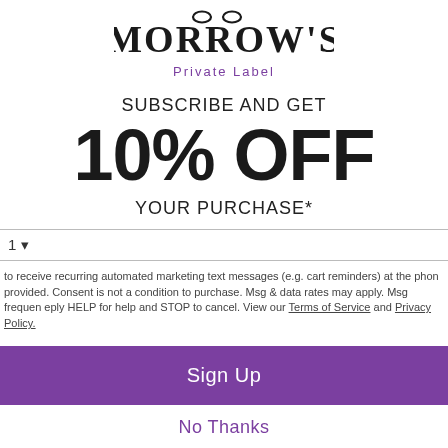[Figure (logo): Morrow's Private Label logo — stylized text with rings above the O's]
SUBSCRIBE AND GET
10% OFF
YOUR PURCHASE*
1 ▾ [phone input field]
to receive recurring automated marketing text messages (e.g. cart reminders) at the phone provided. Consent is not a condition to purchase. Msg & data rates may apply. Msg frequently reply HELP for help and STOP to cancel. View our Terms of Service and Privacy Policy.
Sign Up
No Thanks